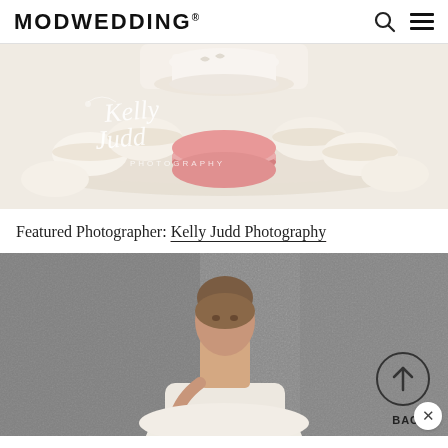MODWEDDING®
[Figure (photo): Close-up photo of macarons arranged on a plate with a teacup in the background, featuring white and pink macarons. Kelly Judd Photography watermark visible in cursive script.]
Featured Photographer: Kelly Judd Photography
[Figure (photo): Portrait photo of a woman in a white dress against a grey textured background, with a 'BACK' navigation button overlaid in the bottom right corner and a close button.]